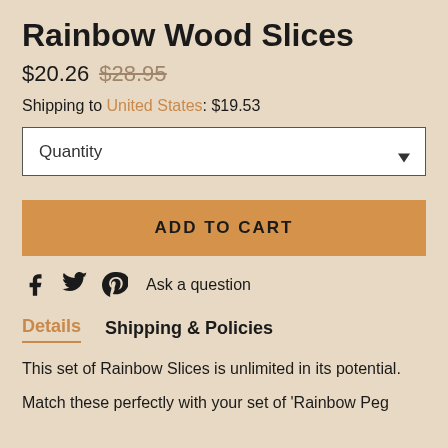Rainbow Wood Slices
$20.26 $28.95
Shipping to United States: $19.53
Quantity
ADD TO CART
Ask a question
Details  Shipping & Policies
This set of Rainbow Slices is unlimited in its potential.
Match these perfectly with your set of 'Rainbow Peg